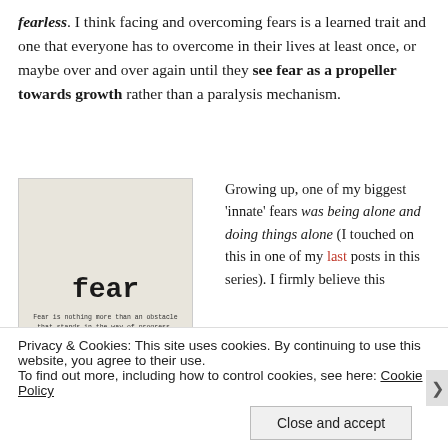fearless. I think facing and overcoming fears is a learned trait and one that everyone has to overcome in their lives at least once, or maybe over and over again until they see fear as a propeller towards growth rather than a paralysis mechanism.
[Figure (photo): Beige/cream background image with the word 'fear' in large bold typewriter font, and below it small typewriter text reading: 'Fear is nothing more than an obstacle that stands in the way of progress. In overcoming our fears, we can move forward, stronger and wiser within']
Growing up, one of my biggest 'innate' fears was being alone and doing things alone (I touched on this in one of my last posts in this series). I firmly believe this
Privacy & Cookies: This site uses cookies. By continuing to use this website, you agree to their use.
To find out more, including how to control cookies, see here: Cookie Policy
Close and accept